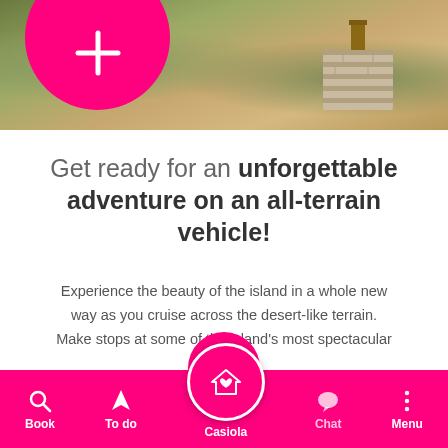[Figure (photo): Outdoor landscape photo showing desert-like terrain with sandy/orange ground, stone wall in background, green shrubs, and a large pink circle overlay in the top left with a plus/add icon]
Get ready for an unforgettable adventure on an all-terrain vehicle!
Experience the beauty of the island in a whole new way as you cruise across the desert-like terrain. Make stops at some of the island's most spectacular
Book | To do | Casiola | Chat | Menu